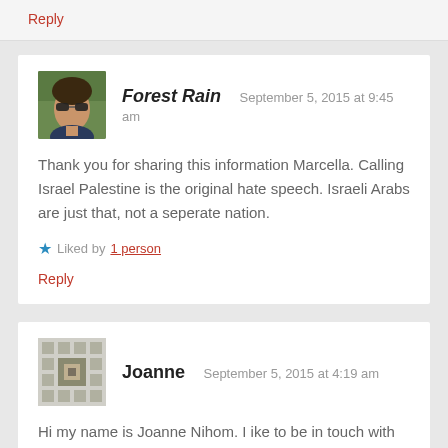Reply
Forest Rain   September 5, 2015 at 9:45 am
Thank you for sharing this information Marcella. Calling Israel Palestine is the original hate speech. Israeli Arabs are just that, not a seperate nation.
Liked by 1 person
Reply
Joanne   September 5, 2015 at 4:19 am
Hi my name is Joanne Nihom. I ike to be in touch with